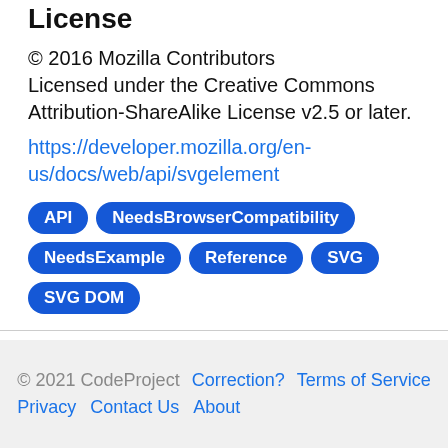License
© 2016 Mozilla Contributors
Licensed under the Creative Commons Attribution-ShareAlike License v2.5 or later.
https://developer.mozilla.org/en-us/docs/web/api/svgelement
API
NeedsBrowserCompatibility
NeedsExample
Reference
SVG
SVG DOM
© 2021 CodeProject   Correction?   Terms of Service   Privacy   Contact Us   About